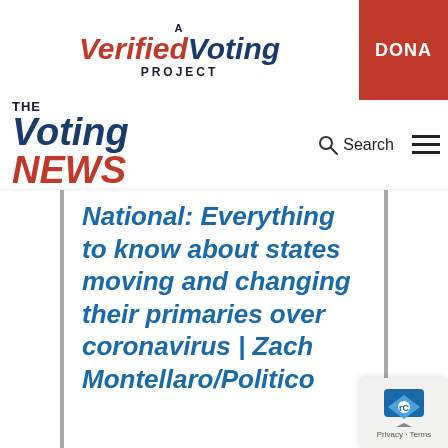[Figure (logo): A Verified Voting Project logo with red and navy italic serif text, and a red DONATE button on the right]
[Figure (logo): The Voting News logo with 'THE' in small caps, 'Voting' in large blue italic, 'NEWS' in large red italic, with Search and hamburger menu on the right]
National: Everything to know about states moving and changing their primaries over coronavirus | Zach Montellaro/Politico